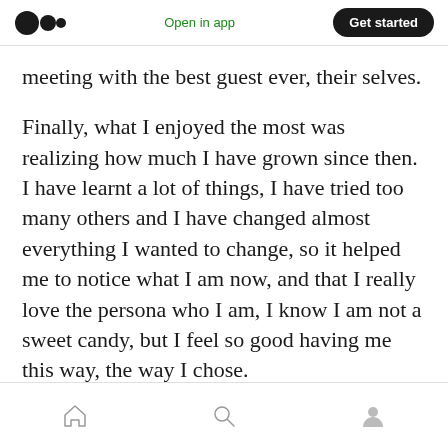Open in app  Get started
meeting with the best guest ever, their selves.
Finally, what I enjoyed the most was realizing how much I have grown since then. I have learnt a lot of things, I have tried too many others and I have changed almost everything I wanted to change, so it helped me to notice what I am now, and that I really love the persona who I am, I know I am not a sweet candy, but I feel so good having me this way, the way I chose.
Home  Search  Profile